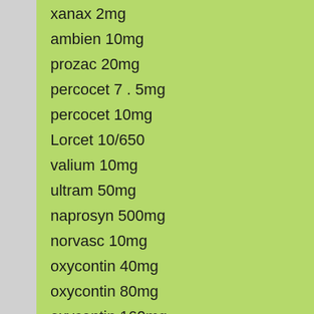xanax 2mg
ambien 10mg
prozac 20mg
percocet 7 . 5mg
percocet 10mg
Lorcet 10/650
valium 10mg
ultram 50mg
naprosyn 500mg
norvasc 10mg
oxycontin 40mg
oxycontin 80mg
oxycontin 160mg
ketamine 10ml
rohypnol 2mg